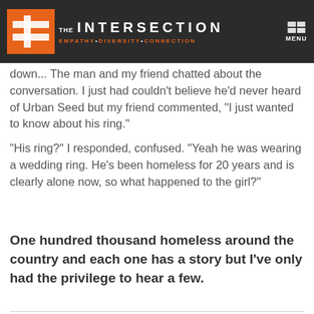THE INTERSECTION — EMPATHY • DIVERSITY • CONNECTION
down... The man and my friend chatted about the conversation. I just had couldn't believe he'd never heard of Urban Seed but my friend commented, "I just wanted to know about his ring."
"His ring?" I responded, confused. "Yeah he was wearing a wedding ring. He's been homeless for 20 years and is clearly alone now, so what happened to the girl?"
One hundred thousand homeless around the country and each one has a story but I've only had the privilege to hear a few.
MONEY